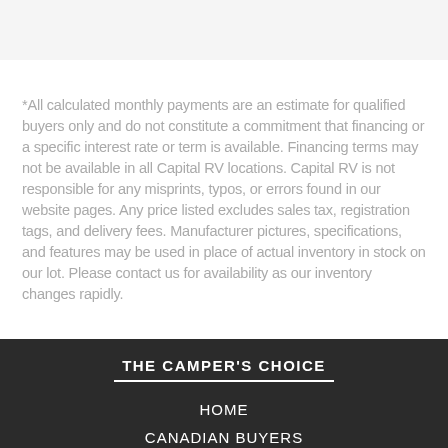*All calculated monthly payments are an estimate for qualified buyers only and do not constitute a commitment that financing or a specific interest rate or term is available. Financing terms may not be available in all Capital RV locations. Capital RV is not responsible for any misprints, typos, or errors found in our website pages. Any price listed excludes sales tax, registration tags, and delivery fees. Manufacturer pictures, specifications, and features may be used in place of actual inventory in stock on our lot. Please contact us for availability as our inventory changes rapidly.
THE CAMPER'S CHOICE
HOME
CANADIAN BUYERS
WHAT'S MY RV WORTH
FINANCING